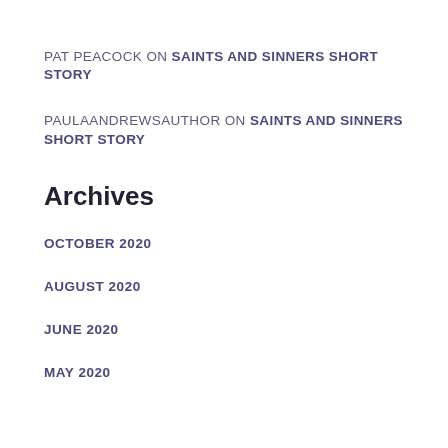PAT PEACOCK ON SAINTS AND SINNERS SHORT STORY
PAULAANDREWSAUTHOR ON SAINTS AND SINNERS SHORT STORY
Archives
OCTOBER 2020
AUGUST 2020
JUNE 2020
MAY 2020